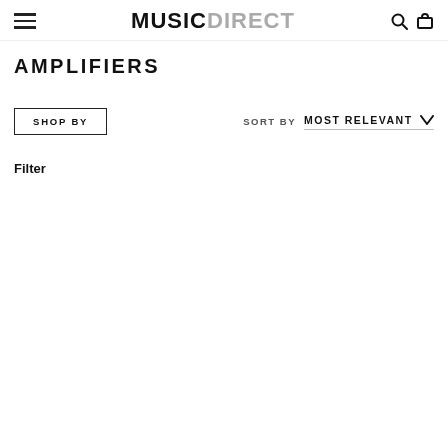MUSIC DIRECT — navigation header with hamburger menu, logo, search and cart icons
AMPLIFIERS
SHOP BY
SORT BY  MOST RELEVANT
Filter